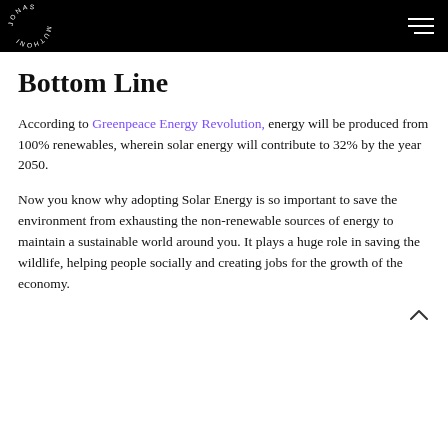JONAS MUTHONI
Bottom Line
According to Greenpeace Energy Revolution, energy will be produced from 100% renewables, wherein solar energy will contribute to 32% by the year 2050.
Now you know why adopting Solar Energy is so important to save the environment from exhausting the non-renewable sources of energy to maintain a sustainable world around you. It plays a huge role in saving the wildlife, helping people socially and creating jobs for the growth of the economy.